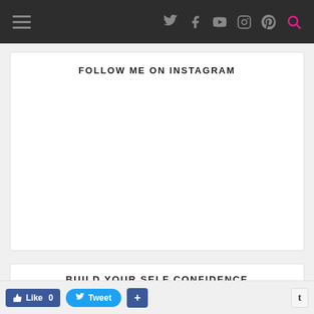[Navigation bar with hamburger menu and social icons: Twitter, Facebook, YouTube, Instagram, Pinterest, Search]
FOLLOW ME ON INSTAGRAM
BUILD YOUR SELF CONFIDENCE
Like 0  Tweet  +  t